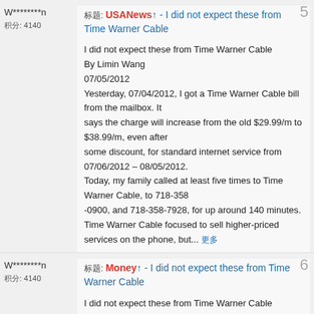W********n
积分: 4140
标题: USANews↑ - I did not expect these from Time Warner Cable
I did not expect these from Time Warner Cable
By Limin Wang
07/05/2012
Yesterday, 07/04/2012, I got a Time Warner Cable bill from the mailbox. It says the charge will increase from the old $29.99/m to $38.99/m, even after some discount, for standard internet service from 07/06/2012 – 08/05/2012.
Today, my family called at least five times to Time Warner Cable, to 718-358 -0900, and 718-358-7928, for up around 140 minutes. Time Warner Cable focused to sell higher-priced services on the phone, but... 更多
W********n
积分: 4140
标题: Money↑ - I did not expect these from Time Warner Cable
I did not expect these from Time Warner Cable